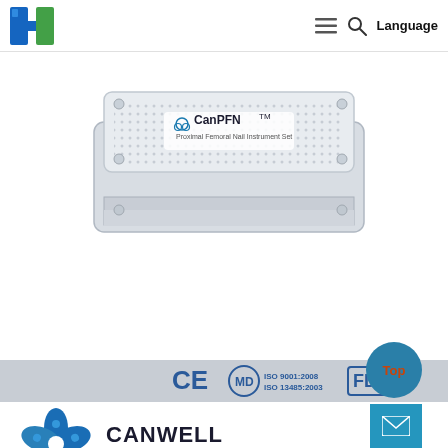[Figure (logo): Canwell Medical Ltd. logo - blue/green stylized H shape]
Language
[Figure (photo): CanPFN TM Proximal Femoral Nail Instrument Set - silver sterilization tray/container]
[Figure (logo): CE, MD, ISO 9001:2008, ISO 13485:2003, FDA certification logos in footer bar]
[Figure (logo): Canwell Medical Ltd. company logo with text CANWELL MEDICAL LTD.]
Top